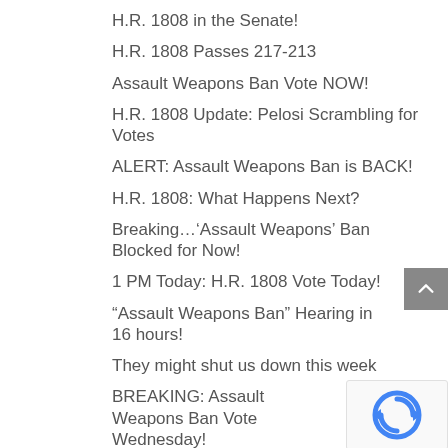H.R. 1808 in the Senate!
H.R. 1808 Passes 217-213
Assault Weapons Ban Vote NOW!
H.R. 1808 Update: Pelosi Scrambling for Votes
ALERT: Assault Weapons Ban is BACK!
H.R. 1808: What Happens Next?
Breaking…'Assault Weapons' Ban Blocked for Now!
1 PM Today: H.R. 1808 Vote Today!
“Assault Weapons Ban” Hearing in 16 hours!
They might shut us down this week
BREAKING: Assault Weapons Ban Vote Wednesday!
H.R. 1808: 5 Days Left
Congressmen Matt Gaetz, Thomas Massie, and